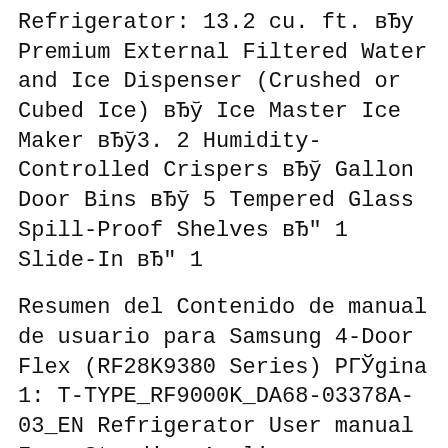Refrigerator: 13.2 cu. ft. вЂу Premium External Filtered Water and Ice Dispenser (Crushed or Cubed Ice) вЂў Ice Master Ice Maker вЂў3. 2 Humidity-Controlled Crispers вЂў Gallon Door Bins вЂў 5 Tempered Glass Spill-Proof Shelves вЂ" 1 Slide-In вЂ" 1
Resumen del Contenido de manual de usuario para Samsung 4-Door Flex (RF28K9380 Series) РГЎgina 1: T-TYPE_RF9000K_DA68-03378A-03_EN Refrigerator User manual Free Standing Appliance Untitled-1 1 2016-03-30 1:11:09 ; РГЎgina 2 Contents Safety information 4 Important safety symbols and precautions: 4 State of California Proposition 65 Warning (US only) 4...